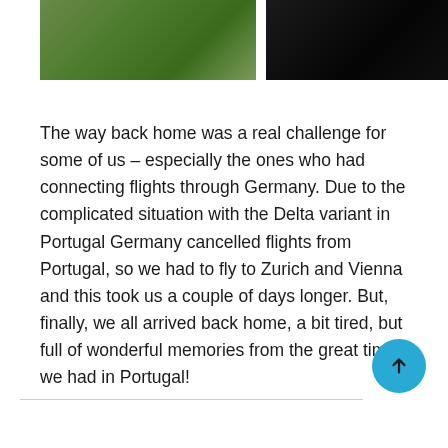[Figure (photo): Two photos at top: left shows green trees/foliage, right shows a dark nearly black image]
The way back home was a real challenge for some of us – especially the ones who had connecting flights through Germany. Due to the complicated situation with the Delta variant in Portugal Germany cancelled flights from Portugal, so we had to fly to Zurich and Vienna and this took us a couple of days longer. But, finally, we all arrived back home, a bit tired, but full of wonderful memories from the great time we had in Portugal!